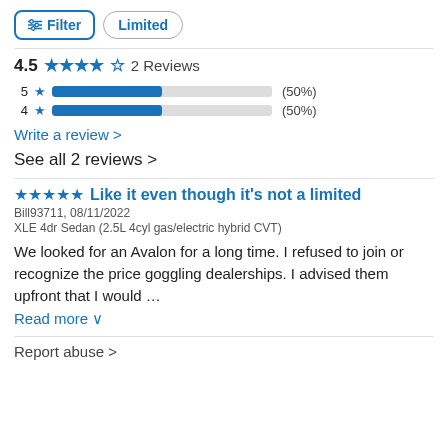Filter | Limited
4.5 ★★★★☆ 2 Reviews
[Figure (bar-chart): Star rating distribution]
Write a review >
See all 2 reviews >
★★★★★ Like it even though it's not a limited
Bill93711, 08/11/2022
XLE 4dr Sedan (2.5L 4cyl gas/electric hybrid CVT)
We looked for an Avalon for a long time. I refused to join or recognize the price goggling dealerships. I advised them upfront that I would …
Read more ∨
Report abuse >